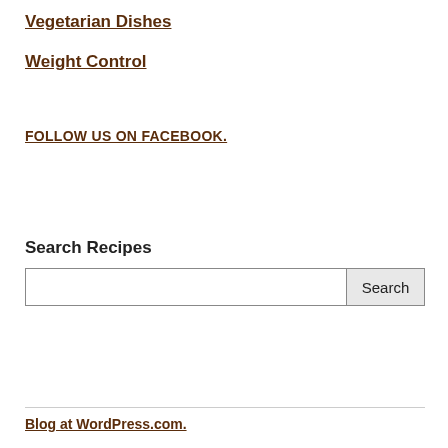Vegetarian Dishes
Weight Control
FOLLOW US ON FACEBOOK.
Search Recipes
Blog at WordPress.com.